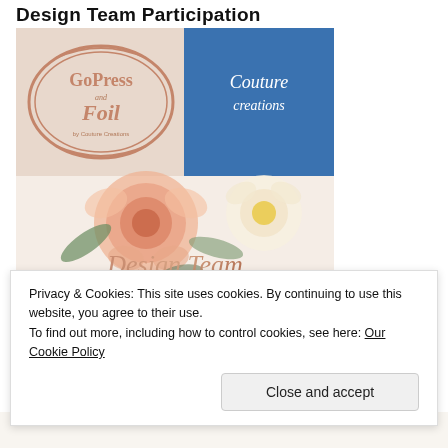Design Team Participation
[Figure (illustration): GoPress and Foil / Couture Creations Design Team 2018/2019 banner with watercolor flowers and cursive text]
Privacy & Cookies: This site uses cookies. By continuing to use this website, you agree to their use.
To find out more, including how to control cookies, see here: Our Cookie Policy
Close and accept